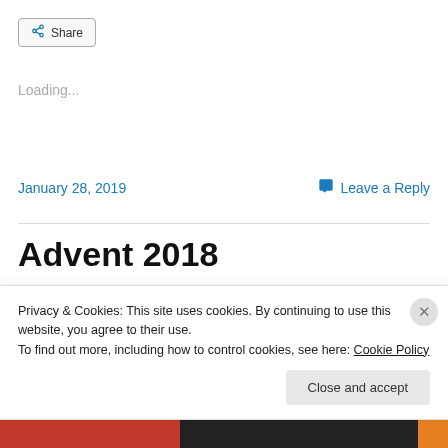Share
Loading...
January 28, 2019    Leave a Reply
Advent 2018
Baruch 5:1-9; Phil. 1:4-6, 8-11; Lk. 3:1-6
Privacy & Cookies: This site uses cookies. By continuing to use this website, you agree to their use.
To find out more, including how to control cookies, see here: Cookie Policy
Close and accept